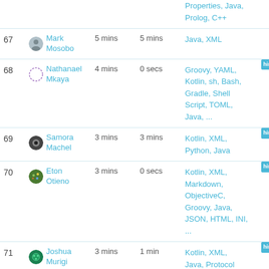| # | Name | Time | Time | Languages |
| --- | --- | --- | --- | --- |
|  | Properties, Java, Prolog, C++ |  |  |  |
| 67 | Mark Mosobo | 5 mins | 5 mins | Java, XML |
| 68 | Nathanael Mkaya | 4 mins | 0 secs | Groovy, YAML, Kotlin, sh, Bash, Gradle, Shell Script, TOML, Java, ... |
| 69 | Samora Machel | 3 mins | 3 mins | Kotlin, XML, Python, Java |
| 70 | Eton Otieno | 3 mins | 0 secs | Kotlin, XML, Markdown, ObjectiveC, Groovy, Java, JSON, HTML, INI, ... |
| 71 | Joshua Murigi | 3 mins | 1 min | Kotlin, XML, Java, Protocol Buffer, Python |